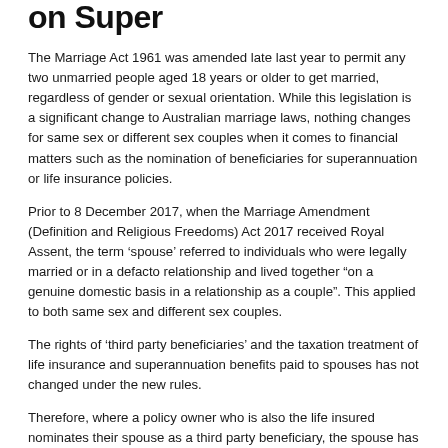on Super
The Marriage Act 1961 was amended late last year to permit any two unmarried people aged 18 years or older to get married, regardless of gender or sexual orientation. While this legislation is a significant change to Australian marriage laws, nothing changes for same sex or different sex couples when it comes to financial matters such as the nomination of beneficiaries for superannuation or life insurance policies.
Prior to 8 December 2017, when the Marriage Amendment (Definition and Religious Freedoms) Act 2017 received Royal Assent, the term ‘spouse’ referred to individuals who were legally married or in a defacto relationship and lived together “on a genuine domestic basis in a relationship as a couple”. This applied to both same sex and different sex couples.
The rights of ‘third party beneficiaries’ and the taxation treatment of life insurance and superannuation benefits paid to spouses has not changed under the new rules.
Therefore, where a policy owner who is also the life insured nominates their spouse as a third party beneficiary, the spouse has the right to receive all benefits without the proceeds of the life insurance contract being paid to the estate of the deceased first.
In the event of the death, one or more life insurance policies owned by the life...